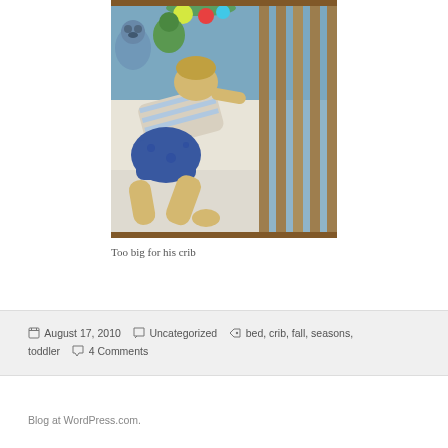[Figure (photo): A toddler sleeping in a crib, appearing too large for the crib. The child is wearing a striped shirt and blue shorts/diaper, lying diagonally. The crib has wooden slats and there are stuffed animals visible. Blue and green decorations visible at the top of the crib.]
Too big for his crib
August 17, 2010  Uncategorized  bed, crib, fall, seasons, toddler  4 Comments
Blog at WordPress.com.